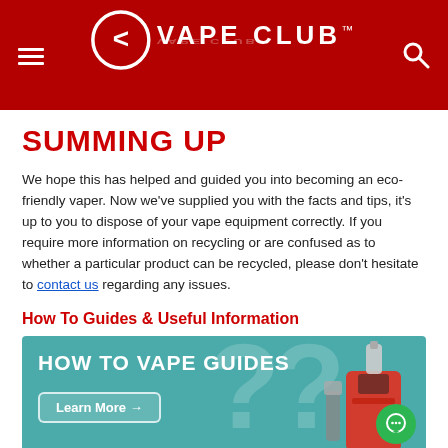VAPE CLUB
SUMMING UP
We hope this has helped and guided you into becoming an eco-friendly vaper. Now we've supplied you with the facts and tips, it's up to you to dispose of your vape equipment correctly. If you require more information on recycling or are confused as to whether a particular product can be recycled, please don't hesitate to contact us regarding any issues.
How To Guides & Useful Information
[Figure (illustration): How To Vape Guides banner with teal background, showing vaping devices and question mark graphics, with a 'Learn More' button]